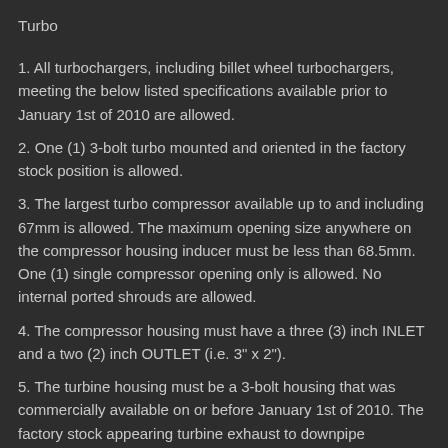Turbo
1. All turbochargers, including billet wheel turbochargers, meeting the below listed specifications available prior to January 1st of 2010 are allowed.
2. One (1) 3-bolt turbo mounted and oriented in the factory stock position is allowed.
3. The largest turbo compressor available up to and including 67mm is allowed. The maximum opening size anywhere on the compressor housing inducer must be less than 68.5mm. One (1) single compressor opening only is allowed. No internal ported shrouds are allowed.
4. The compressor housing must have a three (3) inch INLET and a two (2) inch OUTLET (i.e. 3" x 2").
5. The turbine housing must be a 3-bolt housing that was commercially available on or before January 1st of 2010. The factory stock appearing turbine exhaust to downpipe connection must be used.
6. Any wastegate configuration is acceptable, as long as it is